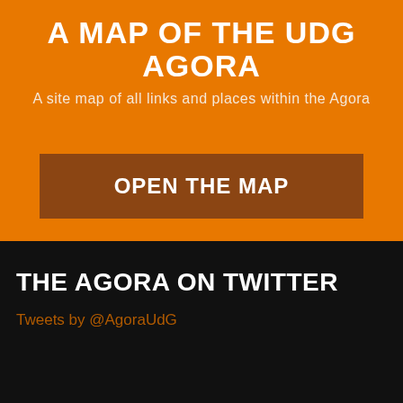A MAP OF THE UDG AGORA
A site map of all links and places within the Agora
OPEN THE MAP
THE AGORA ON TWITTER
Tweets by @AgoraUdG